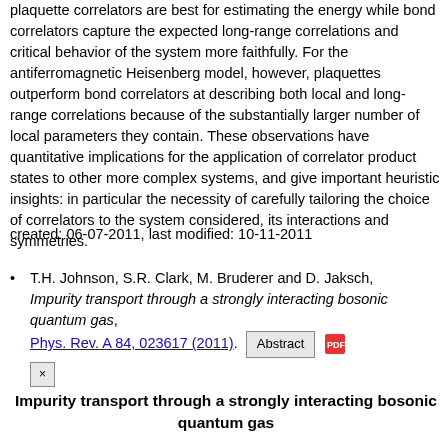plaquette correlators are best for estimating the energy while bond correlators capture the expected long-range correlations and critical behavior of the system more faithfully. For the antiferromagnetic Heisenberg model, however, plaquettes outperform bond correlators at describing both local and long-range correlations because of the substantially larger number of local parameters they contain. These observations have quantitative implications for the application of correlator product states to other more complex systems, and give important heuristic insights: in particular the necessity of carefully tailoring the choice of correlators to the system considered, its interactions and symmetries.
created: 06-07-2011, last modified: 10-11-2011
Close
T.H. Johnson, S.R. Clark, M. Bruderer and D. Jaksch, Impurity transport through a strongly interacting bosonic quantum gas, Phys. Rev. A 84, 023617 (2011). Abstract
Impurity transport through a strongly interacting bosonic quantum gas